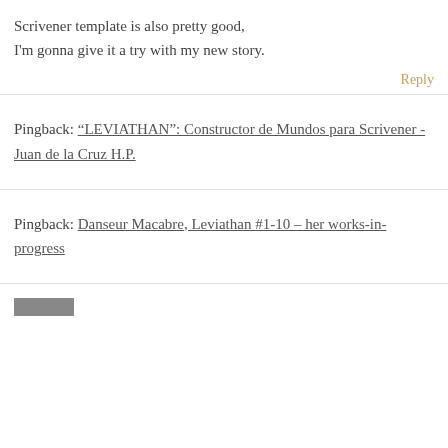Scrivener template is also pretty good, I'm gonna give it a try with my new story.
Reply
Pingback: "LEVIATHAN": Constructor de Mundos para Scrivener - Juan de la Cruz H.P.
Pingback: Danseur Macabre, Leviathan #1-10 – her works-in-progress
[Figure (other): Partial avatar image at bottom of page, cropped]